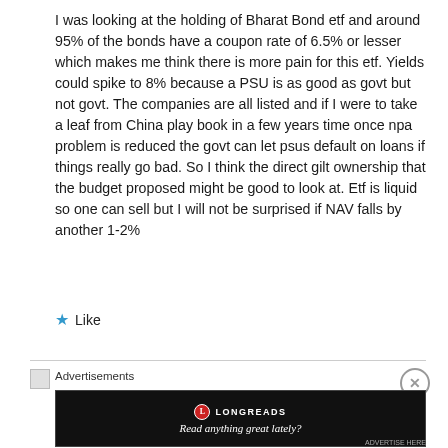I was looking at the holding of Bharat Bond etf and around 95% of the bonds have a coupon rate of 6.5% or lesser which makes me think there is more pain for this etf. Yields could spike to 8% because a PSU is as good as govt but not govt. The companies are all listed and if I were to take a leaf from China play book in a few years time once npa problem is reduced the govt can let psus default on loans if things really go bad. So I think the direct gilt ownership that the budget proposed might be good to look at. Etf is liquid so one can sell but I will not be surprised if NAV falls by another 1-2%
Like
Advertisements
[Figure (screenshot): Longreads advertisement banner with dark background reading 'Read anything great lately?']